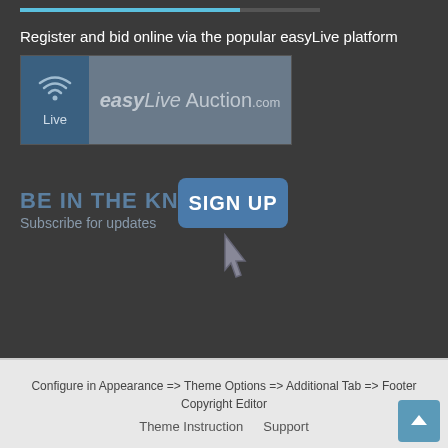Register and bid online via the popular easyLive platform
[Figure (logo): easyLiveAuction.com logo with wifi/live icon on the left and the text 'easyLive Auction.com' on the right]
BE IN THE KNOW
Subscribe for updates
[Figure (illustration): SIGN UP button with a pointing hand cursor icon below it]
Configure in Appearance => Theme Options => Additional Tab => Footer Copyright Editor
Theme Instruction   Support